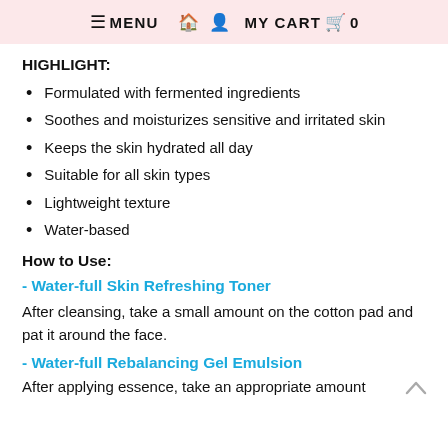≡ MENU 🏠 👤 MY CART 🛒 0
HIGHLIGHT:
Formulated with fermented ingredients
Soothes and moisturizes sensitive and irritated skin
Keeps the skin hydrated all day
Suitable for all skin types
Lightweight texture
Water-based
How to Use:
- Water-full Skin Refreshing Toner
After cleansing, take a small amount on the cotton pad and pat it around the face.
- Water-full Rebalancing Gel Emulsion
After applying essence, take an appropriate amount